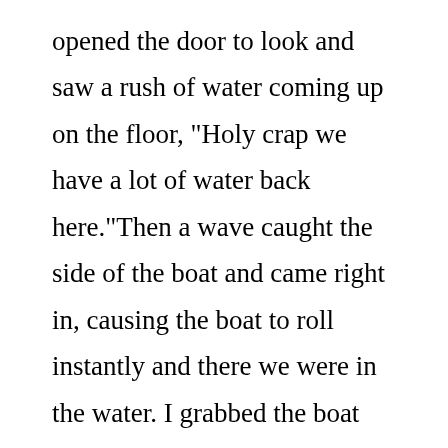opened the door to look and saw a rush of water coming up on the floor, "Holy crap we have a lot of water back here."Then a wave caught the side of the boat and came right in, causing the boat to roll instantly and there we were in the water. I grabbed the boat and hooked my feet in the handrails of the cabin, pulled Brian in and hauled him up on the bottom of the boat, then got myself up. I looked at my watch – it was almost one o'clock. The Cortez ferry was leaving from Heriot Bay on Quadra Island. We attempted